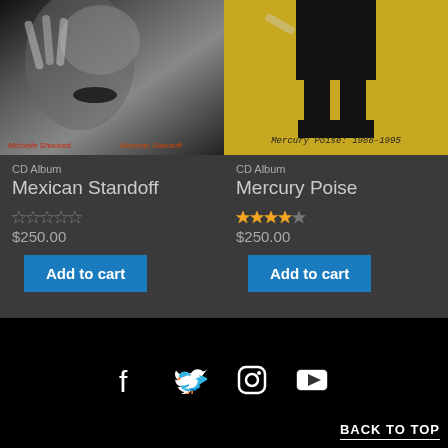[Figure (photo): Album cover for 'Mexican Standoff' by Michelle Shocked - black and white close-up of a woman's face with dark lips, text overlay reads 'Michelle Shocked' and 'Mexican Standoff']
CD Album
Mexican Standoff
$250.00
[Figure (photo): Album cover for 'Mercury Poise: 1988-1995' - person's legs in black pants and boots on yellow background, text reads 'Mercury Poise: 1988-1995']
CD Album
Mercury Poise
$250.00
BACK TO TOP